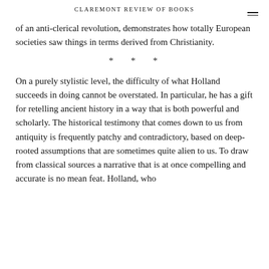CLAREMONT REVIEW OF BOOKS
of an anti-clerical revolution, demonstrates how totally European societies saw things in terms derived from Christianity.
* * *
On a purely stylistic level, the difficulty of what Holland succeeds in doing cannot be overstated. In particular, he has a gift for retelling ancient history in a way that is both powerful and scholarly. The historical testimony that comes down to us from antiquity is frequently patchy and contradictory, based on deep-rooted assumptions that are sometimes quite alien to us. To draw from classical sources a narrative that is at once compelling and accurate is no mean feat. Holland, who